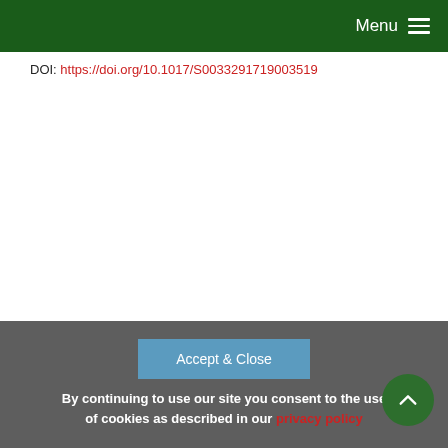Menu
DOI: https://doi.org/10.1017/S0033291719003519
Accept & Close
By continuing to use our site you consent to the use of cookies as described in our privacy policy